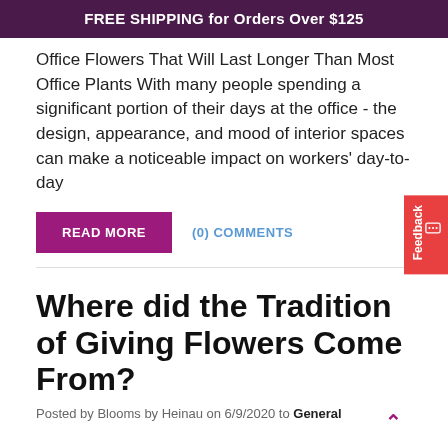FREE SHIPPING for Orders Over $125
Office Flowers That Will Last Longer Than Most Office Plants With many people spending a significant portion of their days at the office - the design, appearance, and mood of interior spaces can make a noticeable impact on workers' day-to-day
READ MORE   (0) COMMENTS
Where did the Tradition of Giving Flowers Come From?
Posted by Blooms by Heinau on 6/9/2020 to General
Throughout history, giving the gift of flowers has been one of the most beautiful forms of non-verbal communication between two